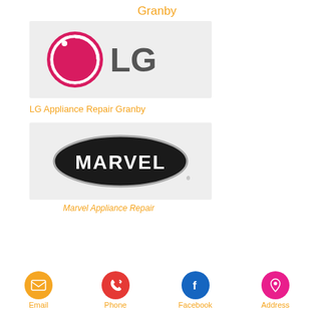Granby
[Figure (logo): LG brand logo with pink circle and grey LG letters on light grey background]
LG Appliance Repair Granby
[Figure (logo): Marvel brand logo with white MARVEL text on black oval/stadium shape on light grey background]
Marvel Appliance Repair
Email
Phone
Facebook
Address